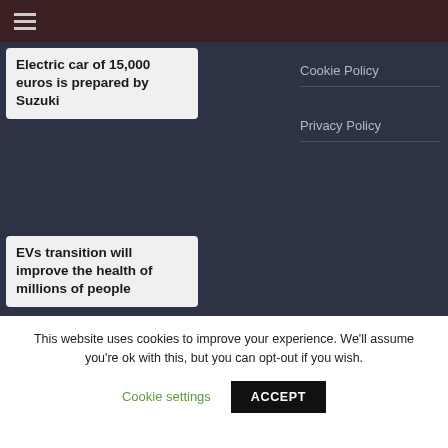≡
Electric car of 15,000 euros is prepared by Suzuki
EVs transition will improve the health of millions of people
KIA: New pilot
Cookie Policy
Privacy Policy
This website uses cookies to improve your experience. We'll assume you're ok with this, but you can opt-out if you wish.
Cookie settings
ACCEPT